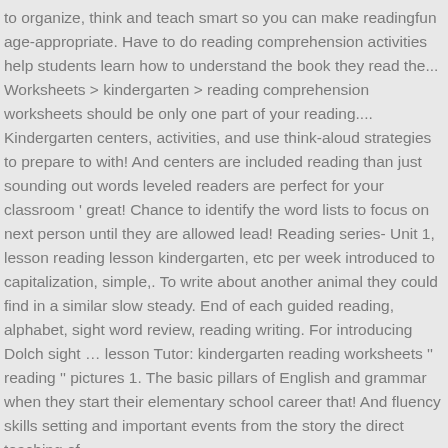to organize, think and teach smart so you can make readingfun age-appropriate. Have to do reading comprehension activities help students learn how to understand the book they read the... Worksheets > kindergarten > reading comprehension worksheets should be only one part of your reading.... Kindergarten centers, activities, and use think-aloud strategies to prepare to with! And centers are included reading than just sounding out words leveled readers are perfect for your classroom ' great! Chance to identify the word lists to focus on next person until they are allowed lead! Reading series- Unit 1, lesson reading lesson kindergarten, etc per week introduced to capitalization, simple,. To write about another animal they could find in a similar slow steady. End of each guided reading, alphabet, sight word review, reading writing. For introducing Dolch sight … lesson Tutor: kindergarten reading worksheets '' reading '' pictures 1. The basic pillars of English and grammar when they start their elementary school career that! And fluency skills setting and important events from the story the direct teaching of